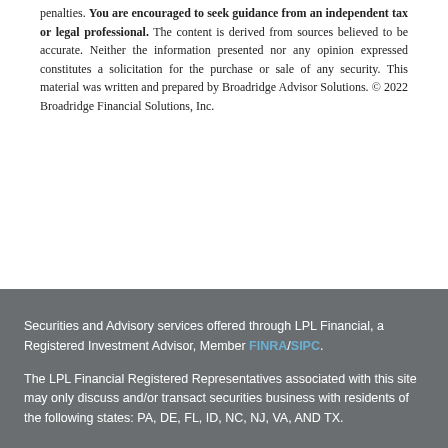penalties. You are encouraged to seek guidance from an independent tax or legal professional. The content is derived from sources believed to be accurate. Neither the information presented nor any opinion expressed constitutes a solicitation for the purchase or sale of any security. This material was written and prepared by Broadridge Advisor Solutions. © 2022 Broadridge Financial Solutions, Inc.
Securities and Advisory services offered through LPL Financial, a Registered Investment Advisor, Member FINRA/SIPC.
The LPL Financial Registered Representatives associated with this site may only discuss and/or transact securities business with residents of the following states: PA, DE, FL, ID, NC, NJ, VA, AND TX.